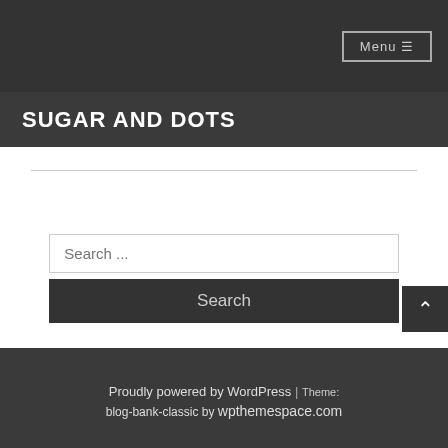Menu
SUGAR AND DOTS
[Figure (screenshot): Search input field with placeholder text 'Search ...' and a dark Search button below it]
Proudly powered by WordPress | Theme: blog-bank-classic by wpthemespace.com